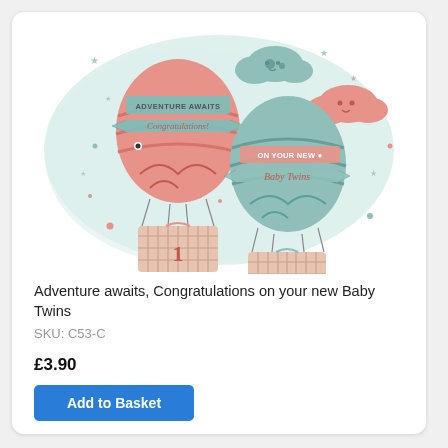[Figure (illustration): Greeting card illustration showing two hot air balloons — one pink and one teal/mint — against a light blue-green cloudy background. The pink balloon reads 'ADVENTURE AWAITS' and 'Congratulations!' on banners. The teal balloon reads 'ON YOUR NEW' and 'Baby Twins' on banners. Each balloon has a numbered basket (1 and 2). Pink and teal clouds with faces and stars are scattered in the background.]
Adventure awaits, Congratulations on your new Baby Twins
SKU: C53-C
£3.90
Add to Basket